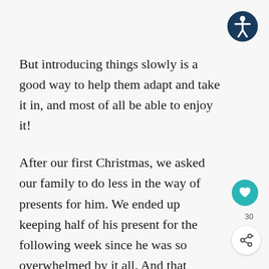[Figure (illustration): Accessibility icon — white stick figure in a circle on a dark teal/navy background]
But introducing things slowly is a good way to help them adapt and take it in, and most of all be able to enjoy it!
After our first Christmas, we asked our family to do less in the way of presents for him. We ended up keeping half of his present for the following week since he was so overwhelmed by it all. And that wasn't fun for anyone!